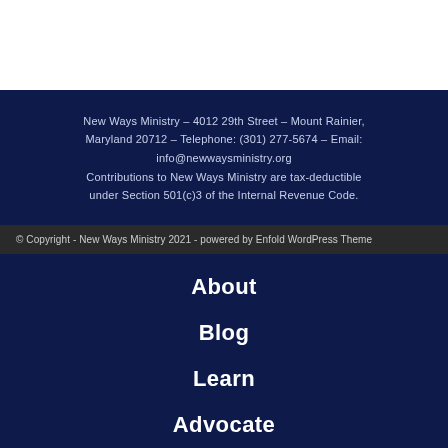New Ways Ministry – 4012 29th Street – Mount Rainier, Maryland 20712 – Telephone: (301) 277-5674 – Email: info@newwaysministry.org
Contributions to New Ways Ministry are tax-deductible under Section 501(c)3 of the Internal Revenue Code.
© Copyright - New Ways Ministry 2021 - powered by Enfold WordPress Theme
About
Blog
Learn
Advocate